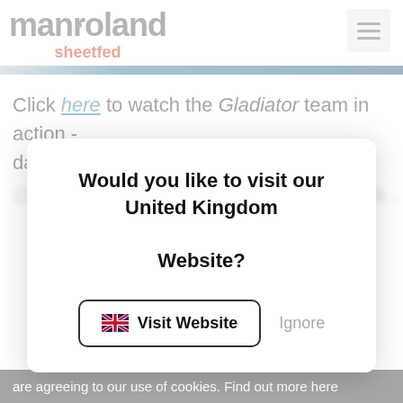[Figure (logo): manroland sheetfed logo with blue dot in the 'o' and red 'sheetfed' subtitle, plus hamburger menu icon]
Click here to watch the Gladiator team in action - day three highlights.
Click here for the TR50 S... [blurred/partially visible text]
Would you like to visit our United Kingdom Website?
[Figure (other): Visit Website button with UK flag and Ignore text link]
are agreeing to our use of cookies. Find out more here